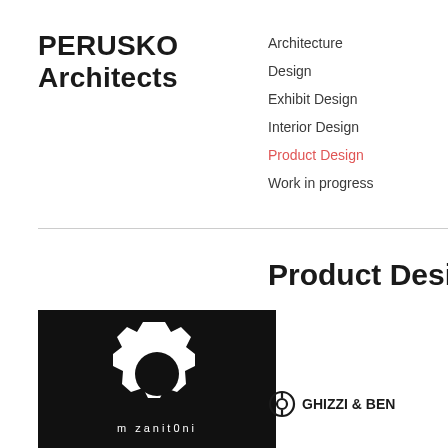PERUSKO Architects
Architecture
Design
Exhibit Design
Interior Design
Product Design
Work in progress
Product Design
[Figure (logo): m zanit0ni logo — white gear icon with text 'm zanit0ni' on black background]
[Figure (logo): GHIZZI & BEN... logo with circular icon]